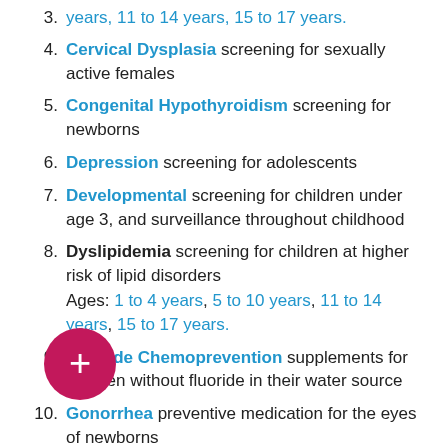years, 11 to 14 years, 15 to 17 years.
Cervical Dysplasia screening for sexually active females
Congenital Hypothyroidism screening for newborns
Depression screening for adolescents
Developmental screening for children under age 3, and surveillance throughout childhood
Dyslipidemia screening for children at higher risk of lipid disorders. Ages: 1 to 4 years, 5 to 10 years, 11 to 14 years, 15 to 17 years.
Fluoride Chemoprevention supplements for children without fluoride in their water source
Gonorrhea preventive medication for the eyes of newborns
Hearing screening for all newborns